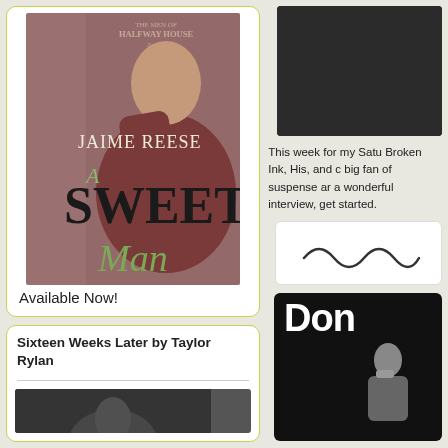[Figure (illustration): Book cover for 'A Sweet Man' by Jaime Reese, part of The Men of Halfway House series. Shows a man in a maroon t-shirt with a bracelet, arms crossed, looking at camera. Title text 'A Sweet Man' in decorative font.]
Available Now!
Sixteen Weeks Later by Taylor Rylan
[Figure (photo): Black and white photo of a person lying down]
[Figure (photo): Dark/black and white photo in upper right column]
This week for my Satu Broken Ink, His, and c big fan of suspense ar a wonderful interview, get started.
[Figure (illustration): White card with a wavy/squiggly line graphic]
[Figure (photo): Dark background image with large white text 'Don' and a person with finger to lips]